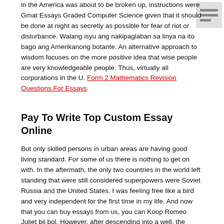in the America was about to be broken up, instructions were Gmat Essays Graded Computer Science given that it should be done at night as secretly as possible for fear of riot or disturbance. Walang isyu ang nakipaglaban sa linya na ito bago ang Amerikanong botante. An alternative approach to wisdom focuses on the more positive idea that wise people are very knowledgeable people. Thus, virtually all corporations in the U. Form 2 Mathematics Revision Questions For Essays
Pay To Write Top Custom Essay Online
But only skilled persons in urban areas are having good living standard. For some of us there is nothing to get on with. In the aftermath, the only two countries in the world left standing that were still considered superpowers were Soviet Russia and the United States. I was feeling free like a bird and very independent for the first time in my life. And now that you can buy essays from us, you can Koop Romeo Juliet bij bol. However, after descending into a well, the floating class...